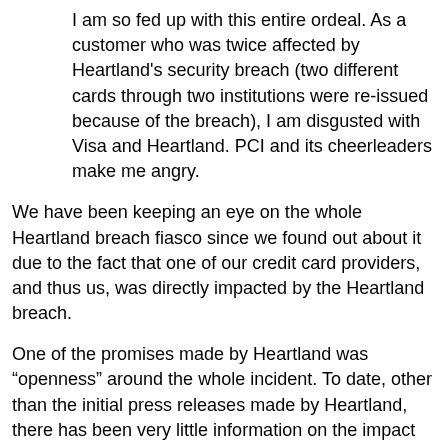I am so fed up with this entire ordeal. As a customer who was twice affected by Heartland's security breach (two different cards through two institutions were re-issued because of the breach), I am disgusted with Visa and Heartland. PCI and its cheerleaders make me angry.
We have been keeping an eye on the whole Heartland breach fiasco since we found out about it due to the fact that one of our credit card providers, and thus us, was directly impacted by the Heartland breach.
One of the promises made by Heartland was “openness” around the whole incident. To date, other than the initial press releases made by Heartland, there has been very little information on the impact the breach has had or the how/when/where/what on the intrusion itself.
Visa, MasterCard, and other credit card providers surely know but it is in their best interest to keep things as mum as possible too.
For those that are keeping some track on the impact of the